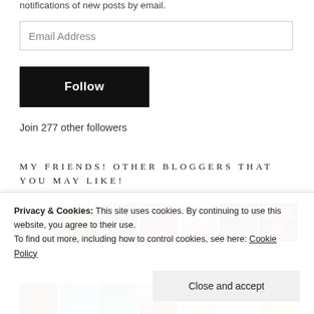notifications of new posts by email.
[Figure (screenshot): Email Address input field]
[Figure (screenshot): Follow button, black background with white bold text]
Join 277 other followers
MY FRIENDS! OTHER BLOGGERS THAT YOU MAY LIKE!
[Figure (photo): Row of 7 blogger thumbnail avatars/photos]
[Figure (photo): Row of 7 more blogger thumbnail avatars/photos (partially visible)]
Privacy & Cookies: This site uses cookies. By continuing to use this website, you agree to their use.
To find out more, including how to control cookies, see here: Cookie Policy
Close and accept